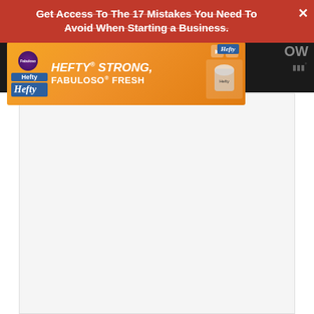[Figure (screenshot): Website screenshot showing a red promotional overlay banner with text 'Get Access To The 17 Mistakes You Need To Avoid When Starting a Business.' with a close (X) button, an orange Hefty/Fabuloso advertisement strip below it on a dark header background, and a mostly blank light-colored content area below.]